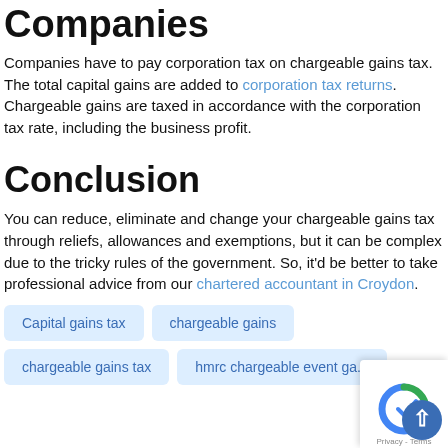Companies
Companies have to pay corporation tax on chargeable gains tax. The total capital gains are added to corporation tax returns. Chargeable gains are taxed in accordance with the corporation tax rate, including the business profit.
Conclusion
You can reduce, eliminate and change your chargeable gains tax through reliefs, allowances and exemptions, but it can be complex due to the tricky rules of the government. So, it’d be better to take professional advice from our chartered accountant in Croydon.
Capital gains tax
chargeable gains
chargeable gains tax
hmrc chargeable event gains